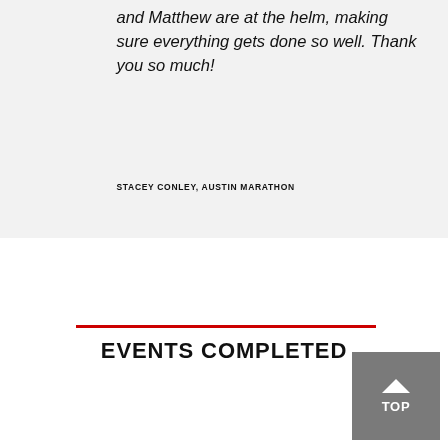and Matthew are at the helm, making sure everything gets done so well. Thank you so much!
STACEY CONLEY, AUSTIN MARATHON
EVENTS COMPLETED